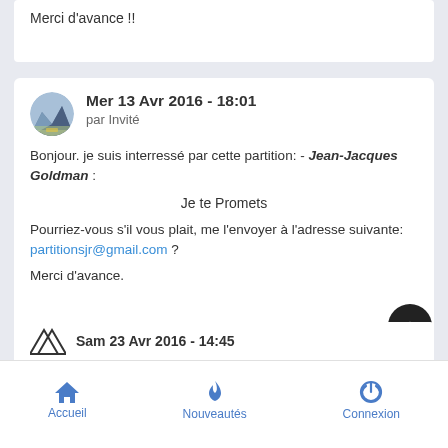Merci d'avance !!
Mer 13 Avr 2016 - 18:01
par Invité
Bonjour. je suis interressé par cette partition: - Jean-Jacques Goldman :
Je te Promets
Pourriez-vous s'il vous plait, me l'envoyer à l'adresse suivante: partitionsjr@gmail.com ?
Merci d'avance.
Sam 23 Avr 2016 - 14:45
Accueil  Nouveautés  Connexion